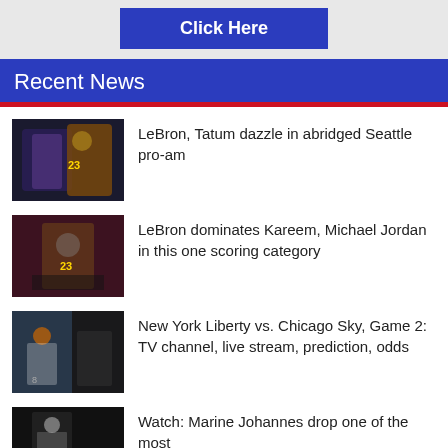[Figure (other): Blue 'Click Here' button on gray background]
Recent News
[Figure (photo): Basketball players including LeBron James in Lakers jersey #23 and a Celtics player]
LeBron, Tatum dazzle in abridged Seattle pro-am
[Figure (photo): LeBron James in Lakers #23 jersey shooting a basketball]
LeBron dominates Kareem, Michael Jordan in this one scoring category
[Figure (photo): WNBA players – New York Liberty vs. Chicago Sky game action]
New York Liberty vs. Chicago Sky, Game 2: TV channel, live stream, prediction, odds
[Figure (photo): Basketball player action shot, dark background]
Watch: Marine Johannes drop one of the most